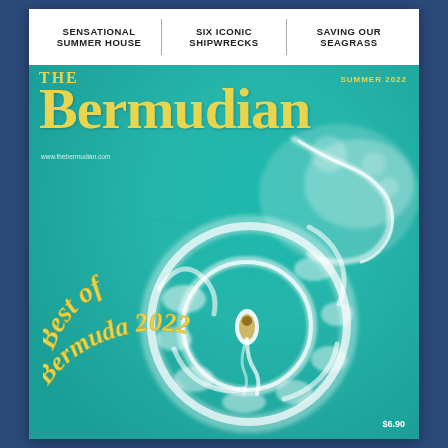SENSATIONAL SUMMER HOUSE | SIX ICONIC SHIPWRECKS | SAVING OUR SEAGRASS
THE BERMUDIAN
SUMMER 2022
www.thebermudian.com
[Figure (photo): Aerial view of a jet ski making circular wake patterns in turquoise Bermuda ocean water, photographed from above]
Best of Bermuda 2022
$6.90